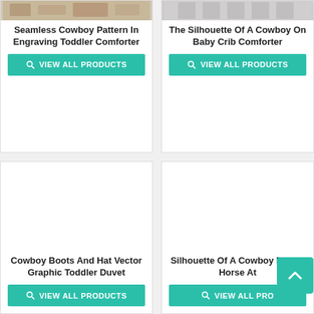[Figure (photo): Seamless cowboy pattern in engraving style product image (partial, top of card)]
Seamless Cowboy Pattern In Engraving Toddler Comforter
VIEW ALL PRODUCTS
[Figure (photo): Silhouette of a cowboy on baby crib comforter product image (partial, top of card)]
The Silhouette Of A Cowboy On Baby Crib Comforter
VIEW ALL PRODUCTS
[Figure (photo): Cowboy boots and hat vector graphic toddler duvet product image (large blank area)]
Cowboy Boots And Hat Vector Graphic Toddler Duvet
VIEW ALL PRODUCTS
[Figure (photo): Silhouette of a cowboy riding horse product image (large blank area, scroll button overlay)]
Silhouette Of A Cowboy Riding Horse At
VIEW ALL PRO